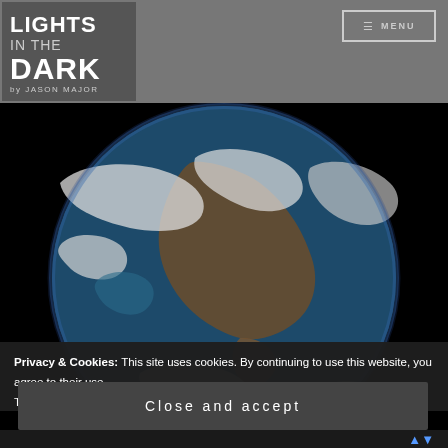[Figure (logo): Lights in the Dark blog logo by Jason Major — white text on dark grey background]
[Figure (photo): Full-disk photograph of Earth from space showing North America, clouds, and oceans on a black background]
Privacy & Cookies: This site uses cookies. By continuing to use this website, you agree to their use.
To find out more, including how to control cookies, see here: Our Cookie Policy
Close and accept